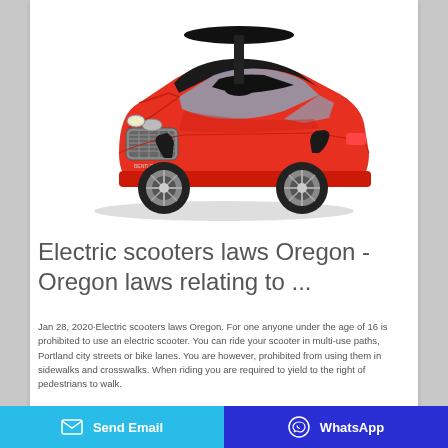[Figure (photo): Red children's ride-on toy car shaped like a Bentley, with black steering wheel handle, black seat, chrome wheels, and silver grille, on white background.]
Electric scooters laws Oregon - Oregon laws relating to ...
Jan 28, 2020·Electric scooters laws Oregon. For one anyone under the age of 16 is prohibited to use an electric scooter. You can ride your scooter in multi-use paths, Portland city streets or bike lanes. You are however, prohibited from using them in sidewalks and crosswalks. When riding you are required to yield to the right of pedestrians to walk.
Send Email | WhatsApp